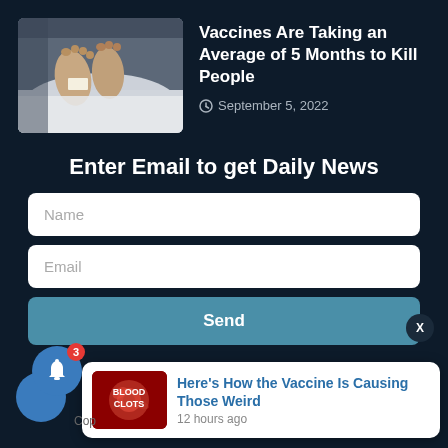[Figure (photo): Photo of covered body feet with toe tag on a morgue table, white sheet]
Vaccines Are Taking an Average of 5 Months to Kill People
September 5, 2022
Enter Email to get Daily News
Name
Email
Send
[Figure (photo): Blood clots image with text BLOOD CLOTS overlay]
Here's How the Vaccine Is Causing Those Weird
12 hours ago